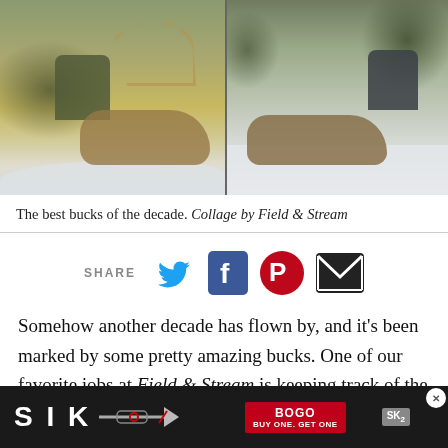[Figure (photo): Collage of two hunting photos: left shows a hunter in camouflage posing with a large whitetail buck in a snowy field; right shows another hunter in dark gear posing with a large buck with impressive antlers in a snowy wooded area.]
The best bucks of the decade. Collage by Field & Stream
[Figure (infographic): Social share icons: SHARE label followed by Twitter bird icon (blue), Facebook 'f' icon (dark blue), Pinterest circle icon (red), and email envelope icon (dark/black).]
Somehow another decade has flown by, and it's been marked by some pretty amazing bucks. One of our favorite jobs at Field & Stream is keeping track of the best w[hitetail] [a]nd with a[...]
[Figure (infographic): Advertisement banner at bottom: SIK brand ad with broadhead arrow image, BOGO BUY ONE GET ONE offer in red box, SK2 logo, on dark background.]